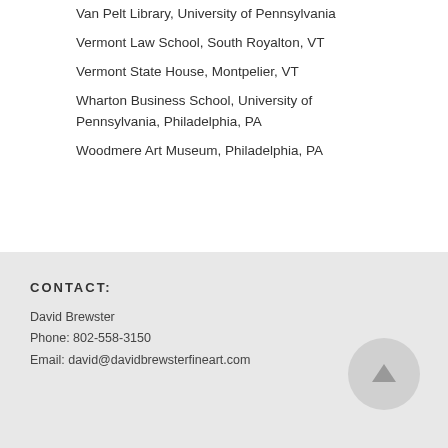Van Pelt Library, University of Pennsylvania
Vermont Law School, South Royalton, VT
Vermont State House, Montpelier, VT
Wharton Business School, University of Pennsylvania, Philadelphia, PA
Woodmere Art Museum, Philadelphia, PA
CONTACT:
David Brewster
Phone: 802-558-3150
Email: david@davidbrewsterfineart.com